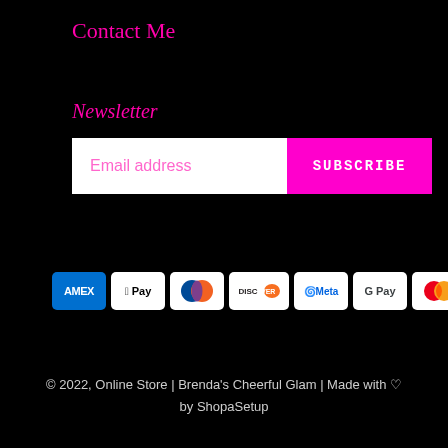Contact Me
Newsletter
[Figure (screenshot): Email address input field with a magenta SUBSCRIBE button]
[Figure (infographic): Payment method icons: AMEX, Apple Pay, Diners Club, Discover, Meta Pay, Google Pay, Mastercard, Shop Pay, Visa]
© 2022, Online Store | Brenda's Cheerful Glam | Made with ♡ by ShopaSetup